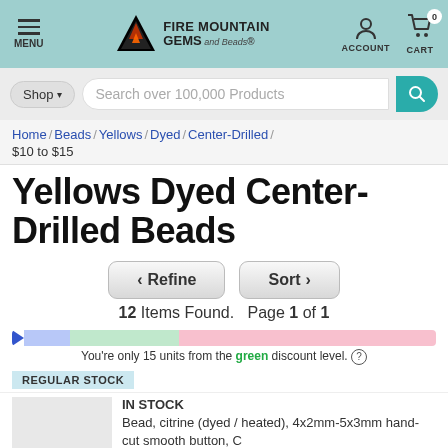[Figure (screenshot): Fire Mountain Gems and Beads website header with logo, menu, account, and cart icons on teal background]
[Figure (screenshot): Search bar with Shop dropdown and 'Search over 100,000 Products' placeholder and teal search button]
Home / Beads / Yellows / Dyed / Center-Drilled / $10 to $15
Yellows Dyed Center-Drilled Beads
< Refine    Sort >
12 Items Found.  Page 1 of 1
You're only 15 units from the green discount level. (?)
REGULAR STOCK
IN STOCK
Bead, citrine (dyed / heated), 4x2mm-5x3mm hand-cut smooth button, C